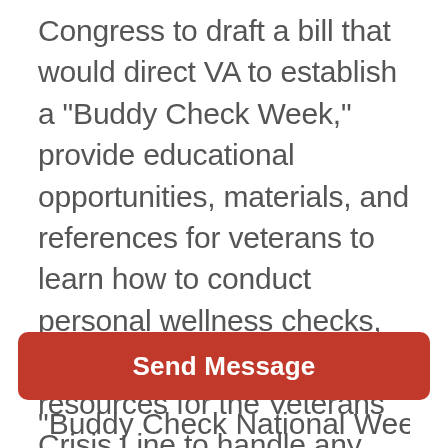Congress to draft a bill that would direct VA to establish a "Buddy Check Week," provide educational opportunities, materials, and references for veterans to learn how to conduct personal wellness checks, as well as require increased resources for the Veterans Crisis Line to handle any potential increased usage during the designated week. The bill is
Send Message
"Buddy Check National Week of